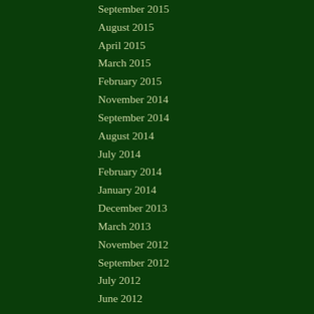September 2015
August 2015
April 2015
March 2015
February 2015
November 2014
September 2014
August 2014
July 2014
February 2014
January 2014
December 2013
March 2013
November 2012
September 2012
July 2012
June 2012
Recent Posts
Walking to Whaleback Lookout, Tasmania
Walking to Tomahawk Point, Tasmania
The View from Sumac Lookout
Walking to Trowutta Arch
Walking to Detention Falls